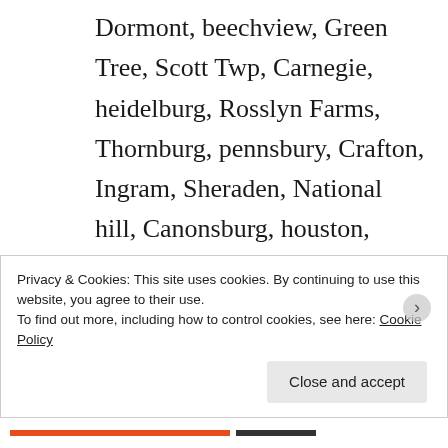Dormont, beechview, Green Tree, Scott Twp, Carnegie, heidelburg, Rosslyn Farms, Thornburg, pennsbury, Crafton, Ingram, Sheraden, National hill, Canonsburg, houston, McGovern, Washington, Wolfdale, Claysville, West Alexander and surroundingand the counties of Lawrence, Butler, Armstrong,
Privacy & Cookies: This site uses cookies. By continuing to use this website, you agree to their use.
To find out more, including how to control cookies, see here: Cookie Policy